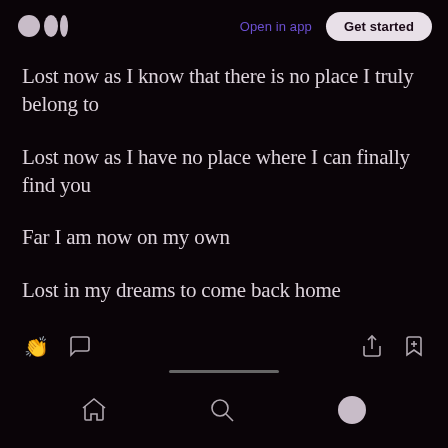Medium logo | Open in app | Get started
Lost now as I know that there is no place I truly belong to
Lost now as I have no place where I can finally find you
Far I am now on my own
Lost in my dreams to come back home
Bottom navigation bar with home, search, and profile icons